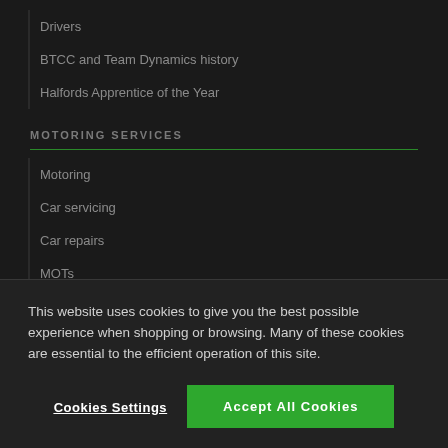Drivers
BTCC and Team Dynamics history
Halfords Apprentice of the Year
MOTORING SERVICES
Motoring
Car servicing
Car repairs
MOTs
Tyres
This website uses cookies to give you the best possible experience when shopping or browsing. Many of these cookies are essential to the efficient operation of this site.
Cookies Settings
Accept All Cookies